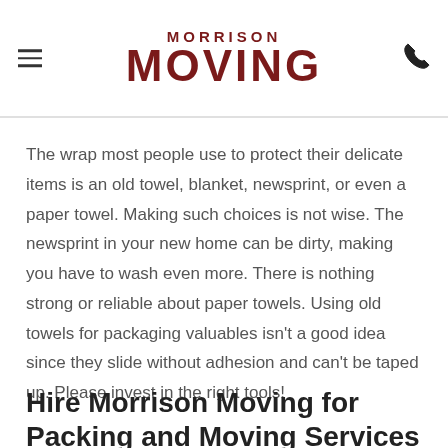MORRISON MOVING
The wrap most people use to protect their delicate items is an old towel, blanket, newsprint, or even a paper towel. Making such choices is not wise. The newsprint in your new home can be dirty, making you have to wash even more. There is nothing strong or reliable about paper towels. Using old towels for packaging valuables isn't a good idea since they slide without adhesion and can't be taped up. Please invest in the right tools!
Hire Morrison Moving for Packing and Moving Services